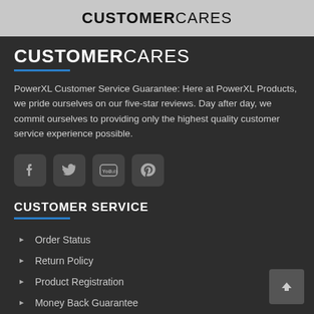CUSTOMERCARES
CUSTOMERCARES
PowerXL Customer Service Guarantee: Here at PowerXL Products, we pride ourselves on our five-star reviews. Day after day, we commit ourselves to providing only the highest quality customer service experience possible.
[Figure (illustration): Four social media icon buttons: Facebook, Twitter, YouTube, Pinterest]
CUSTOMER SERVICE
Order Status
Return Policy
Product Registration
Money Back Guarantee
Contact Us